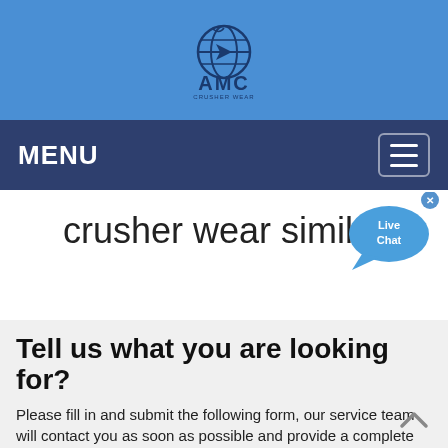[Figure (logo): AMC logo with globe icon and text 'AMC' on a blue header background]
MENU
[Figure (illustration): Live Chat bubble icon with 'x' close button in top right]
crusher wear similar
Tell us what you are looking for?
Please fill in and submit the following form, our service team will contact you as soon as possible and provide a complete solution.